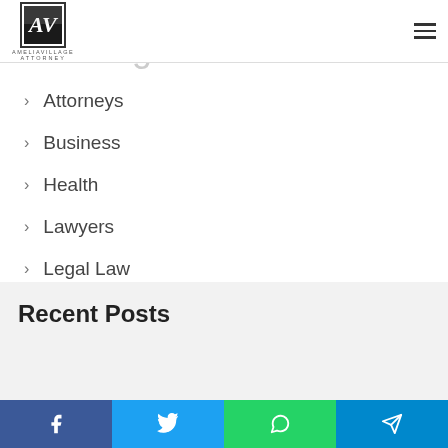[Figure (logo): AmeliaVillage Attorney logo with AV initials in black square box, text 'AMELIAVILLAGE ATTORNEY' below]
Categories
Attorneys
Business
Health
Lawyers
Legal Law
News
Recent Posts
[Figure (infographic): Social share bar with Facebook, Twitter, WhatsApp, and Telegram buttons]